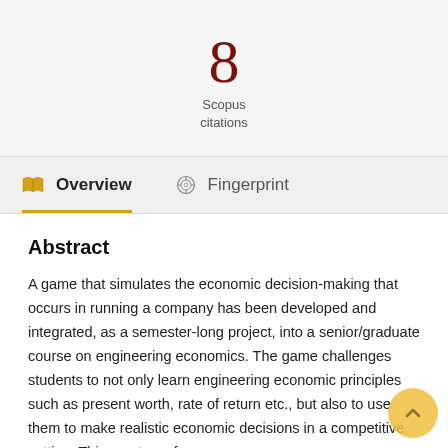8
Scopus citations
Overview
Fingerprint
Abstract
A game that simulates the economic decision-making that occurs in running a company has been developed and integrated, as a semester-long project, into a senior/graduate course on engineering economics. The game challenges students to not only learn engineering economic principles such as present worth, rate of return etc., but also to use them to make realistic economic decisions in a competitive setting. This creates a fun,